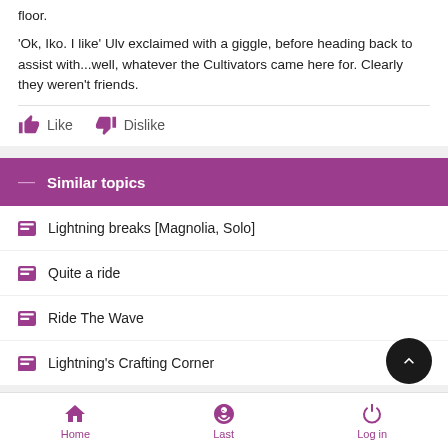floor.
'Ok, Iko. I like' Ulv exclaimed with a giggle, before heading back to assist with...well, whatever the Cultivators came here for. Clearly they weren't friends.
Like   Dislike
Similar topics
Lightning breaks [Magnolia, Solo]
Quite a ride
Ride The Wave
Lightning's Crafting Corner
Home   Last   Log in